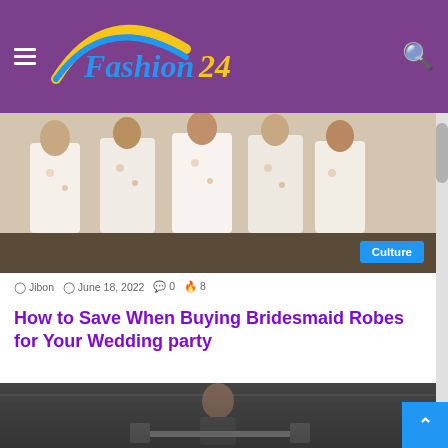Fashion24
[Figure (photo): Group of women wearing floral robes/rompers at a wedding party, with a 'Culture' badge overlay]
Jibon  June 18, 2022  0  8
How to Save When Buying Bridesmaid Robes for Your Wedding party
You can set aside cash while purchasing robes for your wedding. In this article, you will learn tips to assist…
Read More »
[Figure (photo): Woman in a gym setting, appears to be lifting weights, dark background with gym equipment]